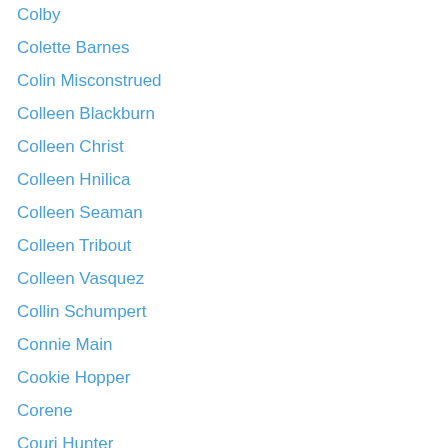Colby
Colette Barnes
Colin Misconstrued
Colleen Blackburn
Colleen Christ
Colleen Hnilica
Colleen Seaman
Colleen Tribout
Colleen Vasquez
Collin Schumpert
Connie Main
Cookie Hopper
Corene
Couri Hunter
Courtney Oblander
Courtney Boone
Courtney Roots
Cris Kellogg
Crystal